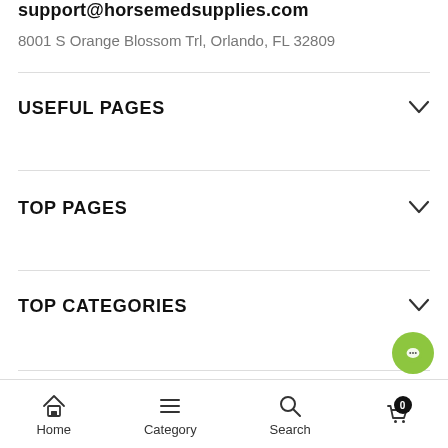support@horsemedsupplies.com
8001 S Orange Blossom Trl, Orlando, FL 32809
USEFUL PAGES
TOP PAGES
TOP CATEGORIES
© 2022 Horse Med Supplies - Buy Horse and Camel Meds Online
[Figure (screenshot): Bottom navigation bar with Home, Category, Search icons and a shopping cart with badge showing 0, plus a green chat button]